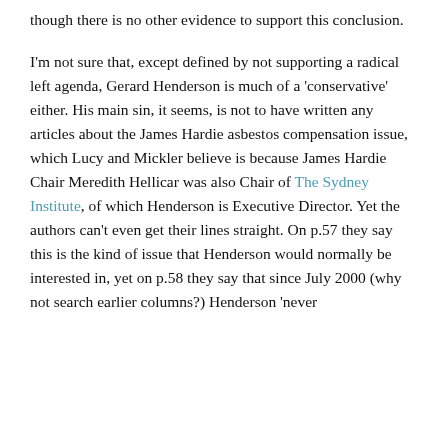though there is no other evidence to support this conclusion.
I'm not sure that, except defined by not supporting a radical left agenda, Gerard Henderson is much of a 'conservative' either. His main sin, it seems, is not to have written any articles about the James Hardie asbestos compensation issue, which Lucy and Mickler believe is because James Hardie Chair Meredith Hellicar was also Chair of The Sydney Institute, of which Henderson is Executive Director. Yet the authors can't even get their lines straight. On p.57 they say this is the kind of issue that Henderson would normally be interested in, yet on p.58 they say that since July 2000 (why not search earlier columns?) Henderson 'never